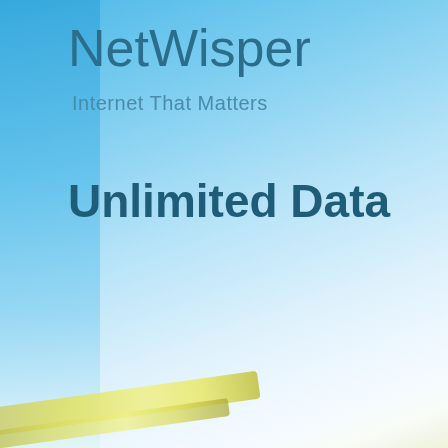NetWisper
Internet That Matters
Unlimited Data
[Figure (illustration): Background with blue sky gradient fading to white at the bottom right, with olive/yellow-green curved stripe shapes at the bottom left corner. Left edge has a deeper blue vertical gradient band.]